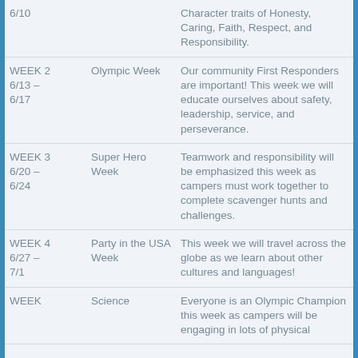| Week/Dates | Theme | Description |
| --- | --- | --- |
| 6/10 |  | Character traits of Honesty, Caring, Faith, Respect, and Responsibility. |
| WEEK 2
6/13 –
6/17 | Olympic Week | Our community First Responders are important! This week we will educate ourselves about safety, leadership, service, and perseverance. |
| WEEK 3
6/20 –
6/24 | Super Hero Week | Teamwork and responsibility will be emphasized this week as campers must work together to complete scavenger hunts and challenges. |
| WEEK 4
6/27 –
7/1 | Party in the USA Week | This week we will travel across the globe as we learn about other cultures and languages! |
| WEEK | Science | Everyone is an Olympic Champion this week as campers will be engaging in lots of physical |